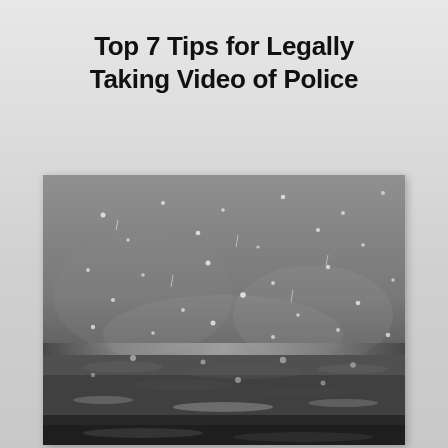Top 7 Tips for Legally Taking Video of Police
[Figure (photo): Black and white close-up photograph of rain falling on a wet surface, with water droplets visible in the air and ripples on the ground.]